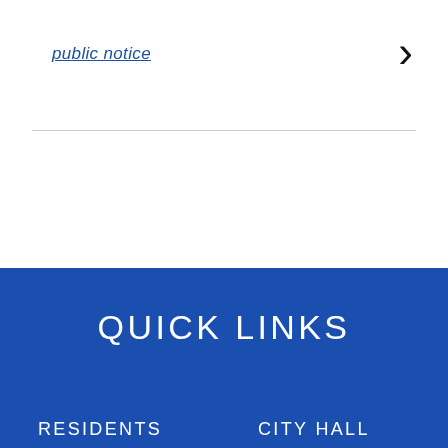public notice
QUICK LINKS
RESIDENTS
CITY HALL